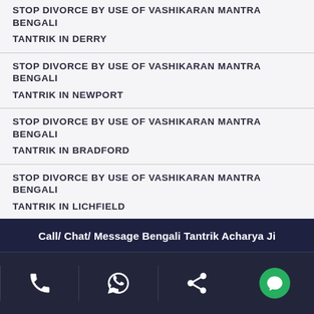STOP DIVORCE BY USE OF VASHIKARAN MANTRA BENGALI TANTRIK IN DERRY
STOP DIVORCE BY USE OF VASHIKARAN MANTRA BENGALI TANTRIK IN NEWPORT
STOP DIVORCE BY USE OF VASHIKARAN MANTRA BENGALI TANTRIK IN BRADFORD
STOP DIVORCE BY USE OF VASHIKARAN MANTRA BENGALI TANTRIK IN LICHFIELD
STOP DIVORCE BY USE OF VASHIKARAN MANTRA BENGALI TANTRIK IN CHICHESTER
Call/ Chat/ Message Bengali Tantrik Acharya Ji